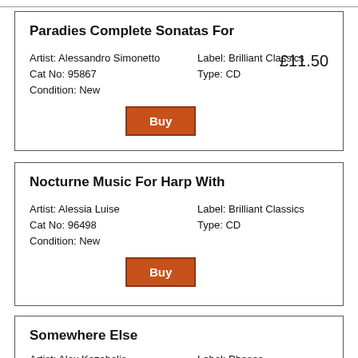Paradies Complete Sonatas For | £11.50 | Artist: Alessandro Simonetto | Cat No: 95867 | Condition: New | Label: Brilliant Classics | Type: CD
Nocturne Music For Harp With | £10.00 | Artist: Alessia Luise | Cat No: 96498 | Condition: New | Label: Brilliant Classics | Type: CD
Somewhere Else | £20.00 | Artist: Alex Kozobolis | Cat No: PHA009V | Condition: New | Label: Phases | Type: LP